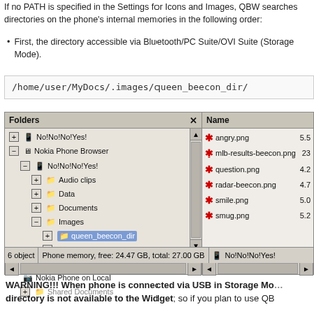If no PATH is specified in the Settings for Icons and Images, QBW searches directories on the phone's internal memories in the following order:
First, the directory accessible via Bluetooth/PC Suite/OVI Suite (Storage Mode).
/home/user/MyDocs/.images/queen_beecon_dir/
[Figure (screenshot): File browser screenshot showing Nokia Phone Browser with folder tree on left (No!No!No!Yes!, Nokia Phone Browser, No!No!No!Yes! with subfolders Audio clips, Data, Documents, Images/queen_beecon_dir/Screenshots, Video clips, Nokia Phone on Local, Shared Documents) and file list on right (angry.png 5.5, mlb-results-beecon.png 23, question.png 4.2, radar-beecon.png 4.7, smile.png 5.0, smug.png 5.2). Status bar shows: 6 object, Phone memory, free: 24.47 GB, total: 27.00 GB, No!No!No!Yes!]
WARNING!!! When phone is connected via USB in Storage Mode, this directory is not available to the Widget; so if you plan to use QB